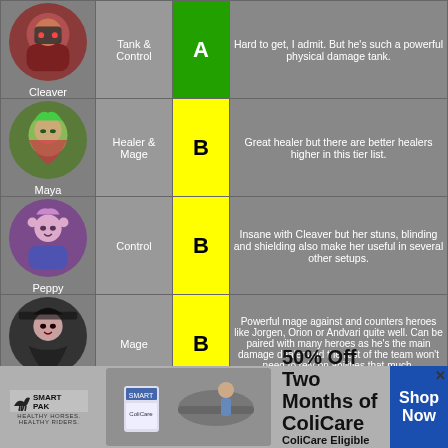| Hero | Type | Grade | Description |
| --- | --- | --- | --- |
| Cleaver | Tank & Control | A | Hard to get, I admit. But he's such a powerful physical damage tank. |
| Maya | Healer & Mage | B | Great healer but there are better healers higher in this tier list. |
| Peppy | Control | B | Insane with Cleaver but her stuns, blinding and shielding also make her useful in several other setups. |
| Satori | Mage | B | Powerful mage against and counters heroes like Jorgen, Orion or Andvari quite well. Can be paired with many heroes as he's the main damage dealer and the rest of the team won't need to rely on abilities that much. |
| Luther | Tank & Control | B | Great combined with markus but also on his own really nice if you need to disrupt the enemy backline. |
| (unknown) | Damage (Niche) | B | With the recent adaptions she became a really strong damage dealer but still requires the right situation setup she will go down too easily to make a difference – and a dead hero can't deal any |
[Figure (infographic): SmartPak advertisement banner: 50% Off Two Months of ColiCare, ColiCare Eligible Supplements, CODE: COLICARE10, Shop Now button]